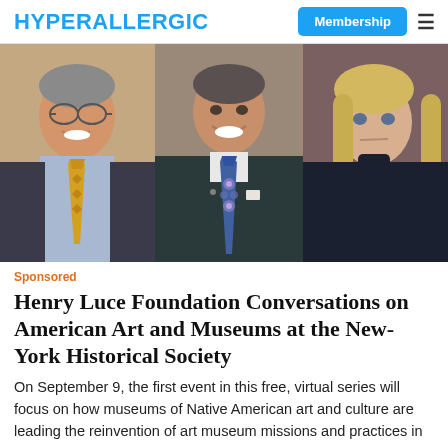HYPERALLERGIC | Membership
[Figure (photo): Three portrait photos side by side: left person in suit with yellow tie and glasses, middle person in dark suit with colorful tie, right person with blonde hair in dark top]
Sponsored
Henry Luce Foundation Conversations on American Art and Museums at the New-York Historical Society
On September 9, the first event in this free, virtual series will focus on how museums of Native American art and culture are leading the reinvention of art museum missions and practices in